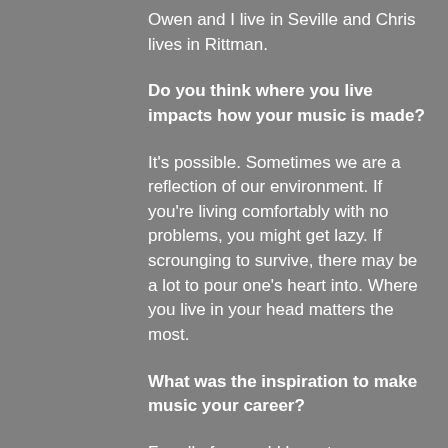Owen and I live in Seville and Chris lives in Rittman.
Do you think where you live impacts how your music is made?
It's possible. Sometimes we are a reflection of our environment. If you're living comfortably with no problems, you might get lazy. If scrounging to survive, there may be a lot to pour one's heart into. Where you live in your head matters the most.
What was the inspiration to make music your career?
For all of us, we'd have to agree on live music. Live music has always been